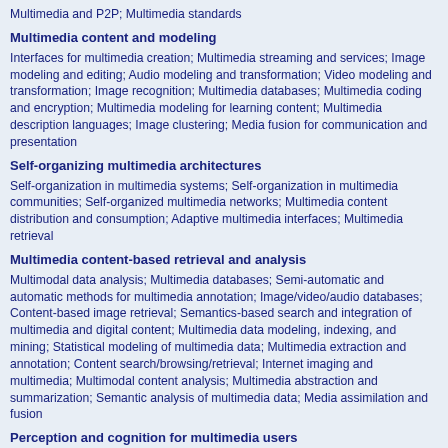Multimedia and P2P; Multimedia standards
Multimedia content and modeling
Interfaces for multimedia creation; Multimedia streaming and services; Image modeling and editing; Audio modeling and transformation; Video modeling and transformation; Image recognition; Multimedia databases; Multimedia coding and encryption; Multimedia modeling for learning content; Multimedia description languages; Image clustering; Media fusion for communication and presentation
Self-organizing multimedia architectures
Self-organization in multimedia systems; Self-organization in multimedia communities; Self-organized multimedia networks; Multimedia content distribution and consumption; Adaptive multimedia interfaces; Multimedia retrieval
Multimedia content-based retrieval and analysis
Multimodal data analysis; Multimedia databases; Semi-automatic and automatic methods for multimedia annotation; Image/video/audio databases; Content-based image retrieval; Semantics-based search and integration of multimedia and digital content; Multimedia data modeling, indexing, and mining; Statistical modeling of multimedia data; Multimedia extraction and annotation; Content search/browsing/retrieval; Internet imaging and multimedia; Multimodal content analysis; Multimedia abstraction and summarization; Semantic analysis of multimedia data; Media assimilation and fusion
Perception and cognition for multimedia users
Quality of experience; Relevance feedback; Human-computer interaction; Multimodal interaction; Multimodal user interfaces; Mobile user-centered interfaces; Peer-to-peer multimedia systems and streaming; Pervasive and interactive multimedia systems (digital TV, mobile systems, gaming,…); Multimedia in personal, sensor and ad-hoc networks; Visualization and virtual reality; Intelligent browsing and visualization; Perception and cognition; Perception and